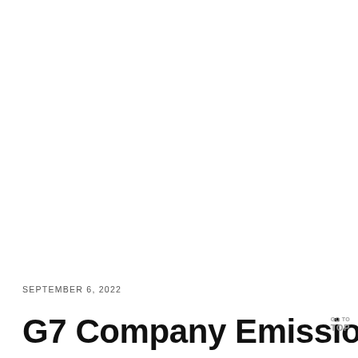SEPTEMBER 6, 2022
G7 Company Emissions Falling Shor